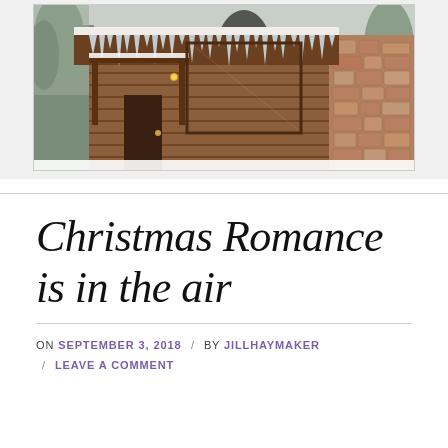[Figure (photo): A log cabin in winter covered with icicles hanging from the snow-laden roof, with a stone chimney wall visible on the right, and snow-covered trees in the background.]
Christmas Romance is in the air
ON SEPTEMBER 3, 2018 / BY JILLHAYMAKER / LEAVE A COMMENT